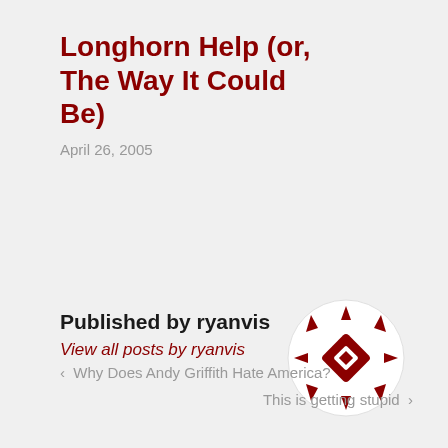Longhorn Help (or, The Way It Could Be)
April 26, 2005
Published by ryanvis
View all posts by ryanvis
[Figure (logo): Circular decorative logo/avatar with dark red geometric snowflake-like pattern on white circular background]
‹  Why Does Andy Griffith Hate America?
This is getting stupid  ›